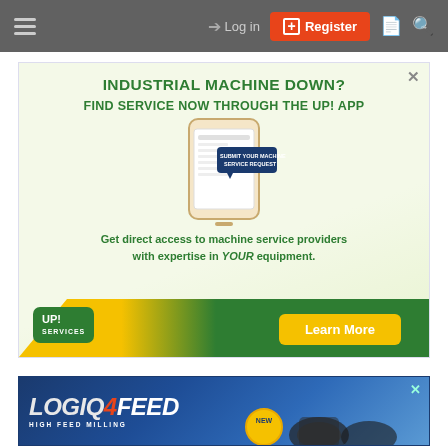Navigation bar with hamburger menu, Log in, Register, document and search icons
[Figure (infographic): Advertisement for UP! App. Header: 'INDUSTRIAL MACHINE DOWN?' Subheader: 'FIND SERVICE NOW THROUGH THE UP! APP'. Shows a smartphone mockup with 'SUBMIT YOUR MACHINE SERVICE REQUEST' tooltip. Body text: 'Get direct access to machine service providers with expertise in YOUR equipment.' UP! logo and green 'Learn More' button at bottom.]
[Figure (infographic): Advertisement for LOGIQ4FEED HIGH FEED MILLING product by Seco Tools. Shows blue/dark background with large stylized text 'LOGIQ4FEED' and 'HIGH FEED MILLING'. Milling tool inserts visible at bottom. 'NEW' badge visible.]